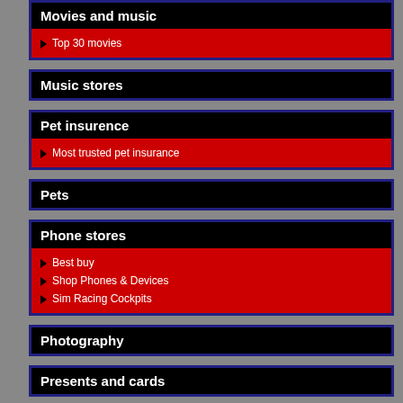Movies and music
Top 30 movies
Music stores
Pet insurence
Most trusted pet insurance
Pets
Phone stores
Best buy
Shop Phones & Devices
Sim Racing Cockpits
Photography
Presents and cards